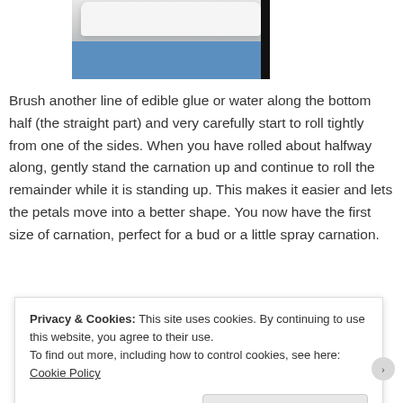[Figure (photo): Photo of white fondant or sugar paste rolled out on a blue surface, partially out of frame with a black area on the right edge.]
Brush another line of edible glue or water along the bottom half (the straight part) and very carefully start to roll tightly from one of the sides. When you have rolled about halfway along, gently stand the carnation up and continue to roll the remainder while it is standing up. This makes it easier and lets the petals move into a better shape. You now have the first size of carnation, perfect for a bud or a little spray carnation.
Privacy & Cookies: This site uses cookies. By continuing to use this website, you agree to their use.
To find out more, including how to control cookies, see here: Cookie Policy
Close and accept